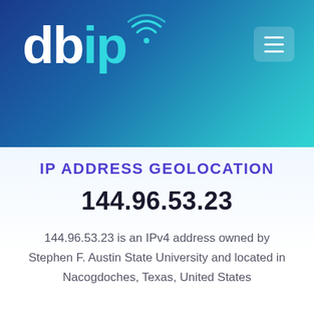[Figure (logo): db-ip logo with wifi signal icon above the 'i', white 'db' text and cyan 'ip' text on blue gradient background]
IP ADDRESS GEOLOCATION
144.96.53.23
144.96.53.23 is an IPv4 address owned by Stephen F. Austin State University and located in Nacogdoches, Texas, United States